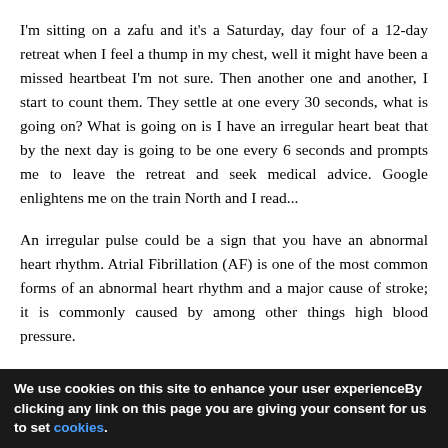I'm sitting on a zafu and it's a Saturday, day four of a 12-day retreat when I feel a thump in my chest, well it might have been a missed heartbeat I'm not sure. Then another one and another, I start to count them. They settle at one every 30 seconds, what is going on? What is going on is I have an irregular heart beat that by the next day is going to be one every 6 seconds and prompts me to leave the retreat and seek medical advice. Google enlightens me on the train North and I read...
An irregular pulse could be a sign that you have an abnormal heart rhythm. Atrial Fibrillation (AF) is one of the most common forms of an abnormal heart rhythm and a major cause of stroke; it is commonly caused by among other things high blood pressure.
This makes sense; my weight has been slowly but steadily climbing for a couple of years and with it my alcohol consumption and my blood pressure. I've been ignoring these
We use cookies on this site to enhance your user experienceBy clicking any link on this page you are giving your consent for us to set cookies.